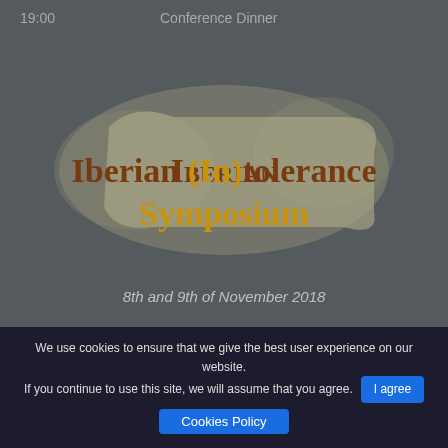19:00    Conference Dinner
[Figure (logo): Iberian (In)tolerance Symposium logo with medieval scroll background and decorative blackletter/gothic font text in brown and gold colors]
8th and 9th of November 2018
LAHP Funded Postgraduate Students-led Conference with the collaboration of King's College London.
We use cookies to ensure that we give the best user experience on our website. If you continue to use this site, we will assume that you agree.
Cookies Policy